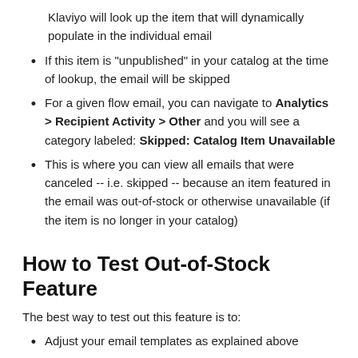Klaviyo will look up the item that will dynamically populate in the individual email
If this item is "unpublished" in your catalog at the time of lookup, the email will be skipped
For a given flow email, you can navigate to Analytics > Recipient Activity > Other and you will see a category labeled: Skipped: Catalog Item Unavailable
This is where you can view all emails that were canceled -- i.e. skipped -- because an item featured in the email was out-of-stock or otherwise unavailable (if the item is no longer in your catalog)
How to Test Out-of-Stock Feature
The best way to test out this feature is to:
Adjust your email templates as explained above
View an item on your site and/or start a checkout with